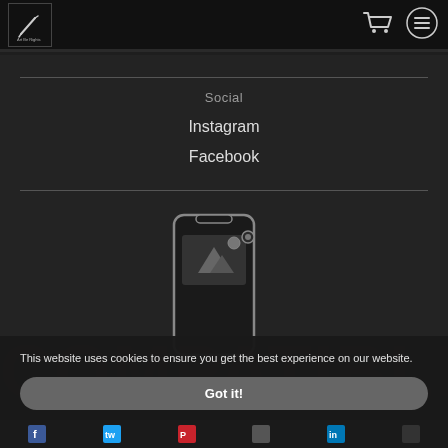[Figure (logo): Black square logo with pen/pencil icon]
[Figure (illustration): Shopping cart icon in header]
[Figure (illustration): Hamburger menu icon in header]
Social
Instagram
Facebook
[Figure (illustration): Smartphone with mountain/landscape image placeholder icon]
This website uses cookies to ensure you get the best experience on our website.
Got it!